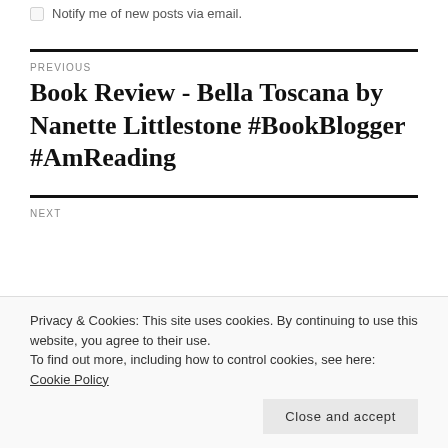Notify me of new posts via email.
PREVIOUS
Book Review - Bella Toscana by Nanette Littlestone #BookBlogger #AmReading
NEXT
Privacy & Cookies: This site uses cookies. By continuing to use this website, you agree to their use.
To find out more, including how to control cookies, see here: Cookie Policy
Close and accept